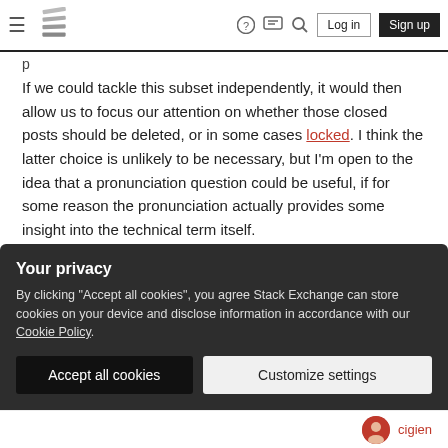Stack Exchange navigation bar with hamburger menu, logo, help, chat, search icons, Log in and Sign up buttons
If we could tackle this subset independently, it would then allow us to focus our attention on whether those closed posts should be deleted, or in some cases locked. I think the latter choice is unlikely to be necessary, but I'm open to the idea that a pronunciation question could be useful, if for some reason the pronunciation actually provides some insight into the technical term itself.
discussion
clean-up
Your privacy
By clicking "Accept all cookies", you agree Stack Exchange can store cookies on your device and disclose information in accordance with our Cookie Policy.
Accept all cookies   Customize settings
cigien